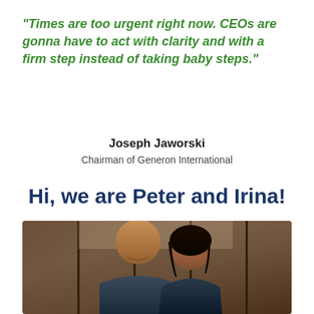“Times are too urgent right now. CEOs are gonna have to act with clarity and with a firm step instead of taking baby steps.”
Joseph Jaworski
Chairman of Generon International
Hi, we are Peter and Irina!
[Figure (photo): Photo of two people (a bald man smiling and a woman with dark hair) posing together in front of a dark wood background.]